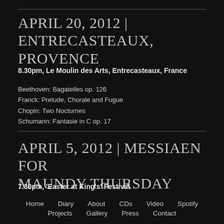APRIL 20, 2012 | ENTRECASTEAUX, PROVENCE
8.30pm, Le Moulin des Arts, Entrecasteaux, France
Beethoven: Bagatelles op. 126
Franck: Prelude, Chorale and Fugue
Chopin: Two Nocturnes
Schumann: Fantasie in C op. 17
APRIL 5, 2012 | MESSIAEN FOR MAUNDY THURSDAY
7.30pm, 'Easter at King's' Festival
Home  Diary  About  CDs  Video  Spotify  Projects  Gallery  Press  Contact